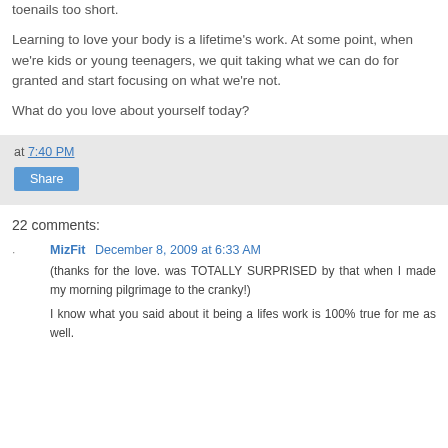toenails too short.
Learning to love your body is a lifetime's work. At some point, when we're kids or young teenagers, we quit taking what we can do for granted and start focusing on what we're not.
What do you love about yourself today?
at 7:40 PM
Share
22 comments:
MizFit December 8, 2009 at 6:33 AM
(thanks for the love. was TOTALLY SURPRISED by that when I made my morning pilgrimage to the cranky!)
I know what you said about it being a lifes work is 100% true for me as well.